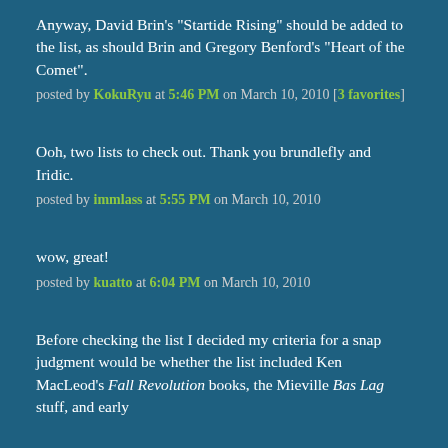Anyway, David Brin's "Startide Rising" should be added to the list, as should Brin and Gregory Benford's "Heart of the Comet".
posted by KokuRyu at 5:46 PM on March 10, 2010 [3 favorites]
Ooh, two lists to check out. Thank you brundlefly and Iridic.
posted by immlass at 5:55 PM on March 10, 2010
wow, great!
posted by kuatto at 6:04 PM on March 10, 2010
Before checking the list I decided my criteria for a snap judgment would be whether the list included Ken MacLeod's Fall Revolution books, the Mieville Bas Lag stuff, and early